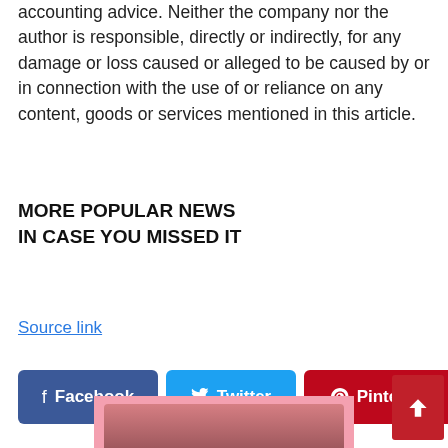accounting advice. Neither the company nor the author is responsible, directly or indirectly, for any damage or loss caused or alleged to be caused by or in connection with the use of or reliance on any content, goods or services mentioned in this article.
MORE POPULAR NEWS
IN CASE YOU MISSED IT
Source link
[Figure (infographic): Social sharing buttons: Facebook (dark blue), Twitter (light blue), Pinterest (red), and a scroll-to-top button (dark red with upward chevron)]
[Figure (photo): Partial photo with pink background, bottom of page]